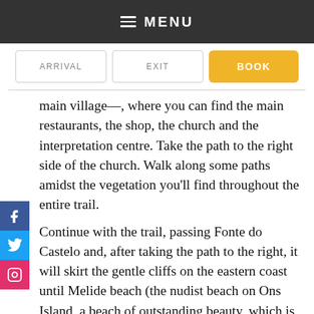MENU
ARRIVAL   EXIT   BOOK
main village—, where you can find the main restaurants, the shop, the church and the interpretation centre. Take the path to the right side of the church. Walk along some paths amidst the vegetation you'll find throughout the entire trail.
Continue with the trail, passing Fonte do Castelo and, after taking the path to the right, it will skirt the gentle cliffs on the eastern coast until Melide beach (the nudist beach on Ons Island, a beach of outstanding beauty, which is definitely worth a visit). From here, climb up to the crossroads, choose the right and take the diversion to the Punta Centulo Lookout Point,